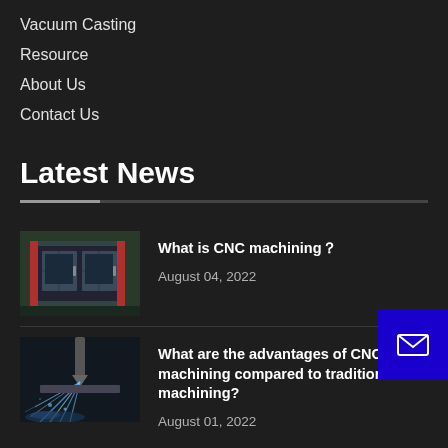Vacuum Casting
Resource
About Us
Contact Us
Latest News
[Figure (photo): CNC machining center with red-accented cabinet doors, industrial machinery]
What is CNC machining？
August 04, 2022
[Figure (photo): CNC machining with coolant spray and cutting tool in action]
What are the advantages of CNC machining compared to traditional machining?
August 01, 2022